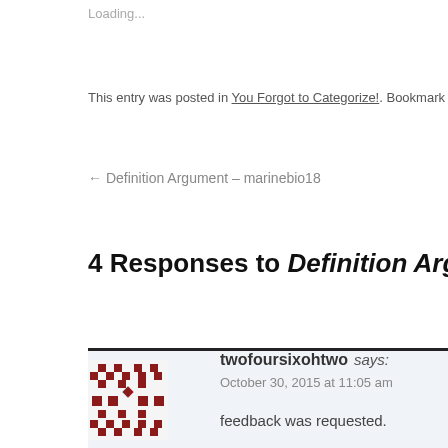Loading...
This entry was posted in You Forgot to Categorize!. Bookmark the permalink.
← Definition Argument – marinebio18
4 Responses to Definition Argument – twof
[Figure (illustration): User avatar: a decorative quilt-style pixel pattern in dark red/brown on white]
twofoursixohtwo says:
October 30, 2015 at 11:05 am
feedback was requested.
Feedback provided.
—DSH
★ Like
Reply